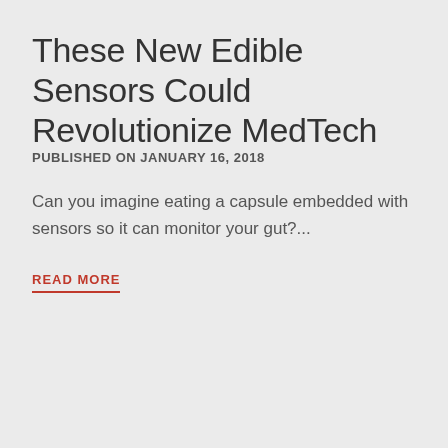These New Edible Sensors Could Revolutionize MedTech
PUBLISHED ON JANUARY 16, 2018
Can you imagine eating a capsule embedded with sensors so it can monitor your gut?...
READ MORE